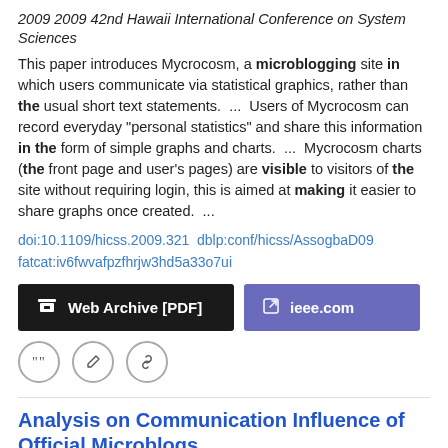2009 2009 42nd Hawaii International Conference on System Sciences
This paper introduces Mycrocosm, a microblogging site in which users communicate via statistical graphics, rather than the usual short text statements.  ...  Users of Mycrocosm can record everyday "personal statistics" and share this information in the form of simple graphs and charts.  ...  Mycrocosm charts (the front page and user's pages) are visible to visitors of the site without requiring login, this is aimed at making it easier to share graphs once created.  ...
doi:10.1109/hicss.2009.321  dblp:conf/hicss/AssogbaD09
fatcat:iv6fwvafpzfhrjw3hd5a33o7ui
[Figure (other): Two buttons: 'Web Archive [PDF]' (dark/black background) and 'ieee.com' (purple background)]
[Figure (other): Three circular icon buttons: quote, edit, and link icons]
Analysis on Communication Influence of Official Microblogs
Nan Chen, Dingguo Yu, Yijie Zhou, Wenjuan Li, Jorge E. Macias-Diaz
2021 Discrete Dynamics in Nature and Society